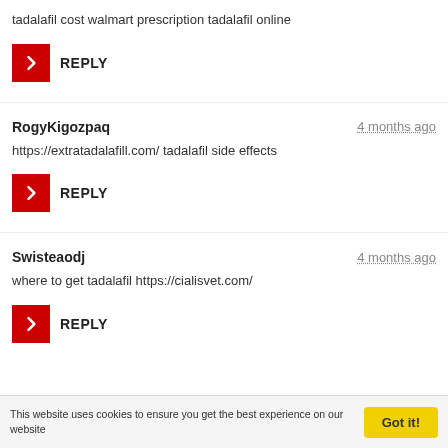tadalafil cost walmart prescription tadalafil online
REPLY
RogyKigozpaq   4 months ago
https://extratadalafill.com/ tadalafil side effects
REPLY
Swisteaodj   4 months ago
where to get tadalafil https://cialisvet.com/
REPLY
This website uses cookies to ensure you get the best experience on our website